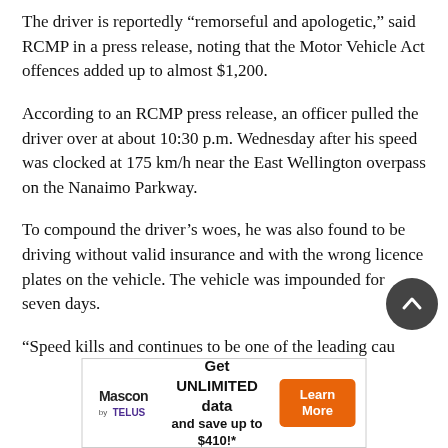The driver is reportedly “remorseful and apologetic,” said RCMP in a press release, noting that the Motor Vehicle Act offences added up to almost $1,200.
According to an RCMP press release, an officer pulled the driver over at about 10:30 p.m. Wednesday after his speed was clocked at 175 km/h near the East Wellington overpass on the Nanaimo Parkway.
To compound the driver’s woes, he was also found to be driving without valid insurance and with the wrong licence plates on the vehicle. The vehicle was impounded for seven days.
“Speed kills and continues to be one of the leading cau…
[Figure (other): Back-to-top circular button, dark grey, with white upward chevron arrow]
[Figure (other): Advertisement banner for Mascon by TELUS: Get UNLIMITED data and save up to $410!* with Learn More orange button]